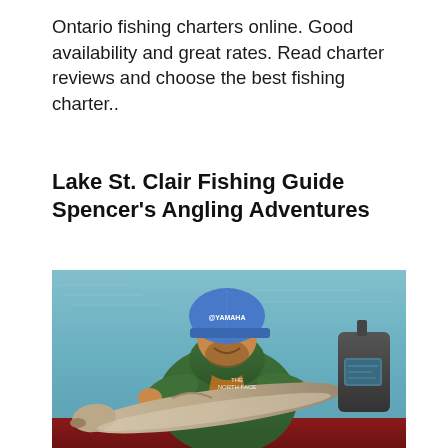Ontario fishing charters online. Good availability and great rates. Read charter reviews and choose the best fishing charter..
Lake St. Clair Fishing Guide Spencer's Angling Adventures
[Figure (photo): A man wearing a blue Yamaha cap and green jacket holding a large muskie fish on a boat on Lake St. Clair, with fishing equipment visible in the background.]